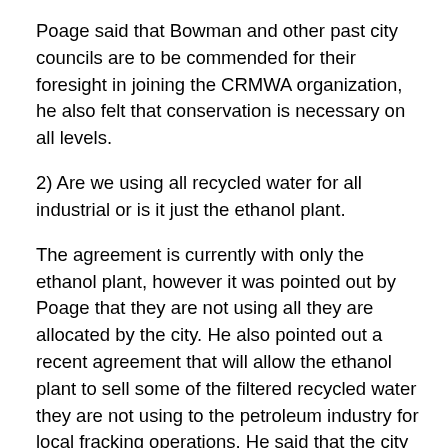Poage said that Bowman and other past city councils are to be commended for their foresight in joining the CRMWA organization, he also felt that conservation is necessary on all levels.
2) Are we using all recycled water for all industrial or is it just the ethanol plant.
The agreement is currently with only the ethanol plant, however it was pointed out by Poage that they are not using all they are allocated by the city. He also pointed out a recent agreement that will allow the ethanol plant to sell some of the filtered recycled water they are not using to the petroleum industry for local fracking operations. He said that the city could have sold the water but they would have to invest millions in a filtering system which the ethanol plant already has in place. He felt like the